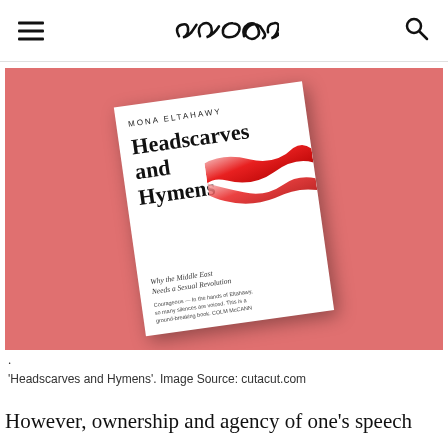Rora [logo]
[Figure (photo): Book cover of 'Headscarves and Hymens' by Mona Eltahawy on a pink/salmon background. The cover shows the title in large serif font with a flowing red ribbon illustration. Subtitle: Why the Middle East Needs a Sexual Revolution.]
·
'Headscarves and Hymens'. Image Source: cutacut.com
However, ownership and agency of one's speech